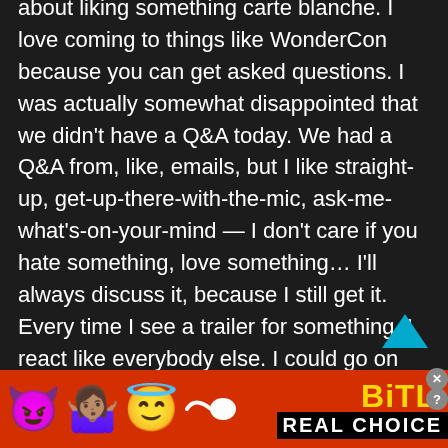about liking something carte blanche. I love coming to things like WonderCon because you can get asked questions. I was actually somewhat disappointed that we didn't have a Q&A today. We had a Q&A from, like, emails, but I like straight-up, get-up-there-with-the-mic, ask-me-what's-on-your-mind — I don't care if you hate something, love something… I'll always discuss it, because I still get it. Every time I see a trailer for something, I react like everybody else. I could go on and on. I told you about Godzilla. I love Godzilla. I have expectations, and I have skepticism. But you
[Figure (other): Advertisement banner with red background featuring devil emoji, woman shrugging emoji, angel emoji, sperm emoji, BitLi logo text in yellow, and 'REAL CHOICE' text in white on black bar]